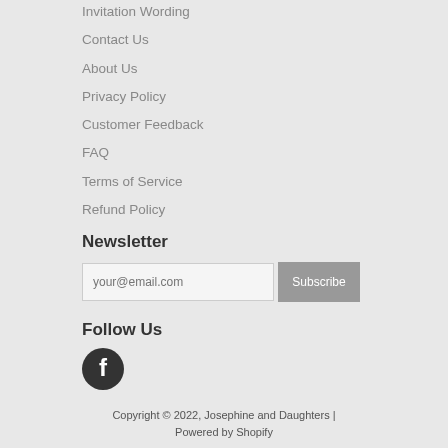Invitation Wording
Contact Us
About Us
Privacy Policy
Customer Feedback
FAQ
Terms of Service
Refund Policy
Newsletter
your@email.com
Follow Us
[Figure (logo): Facebook logo icon - dark circle with white 'f' letter]
Copyright © 2022, Josephine and Daughters | Powered by Shopify